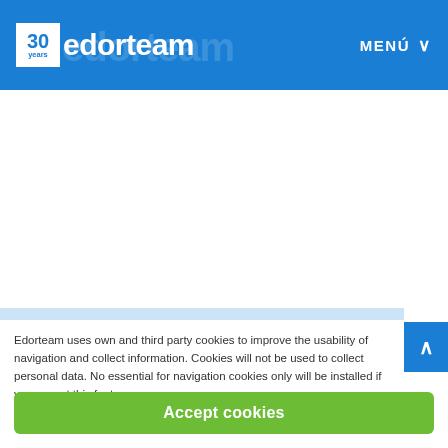30years edorteam — MENÚ
Edorteam uses own and third party cookies to improve the usability of navigation and collect information. Cookies will not be used to collect personal data. No essential for navigation cookies only will be installed if you accept this feature.
Accept cookies